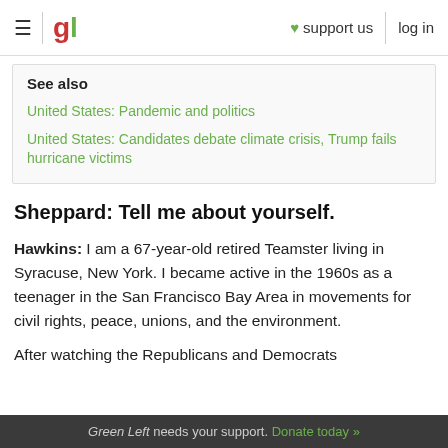≡ | gl ♥ support us log in
See also
United States: Pandemic and politics
United States: Candidates debate climate crisis, Trump fails hurricane victims
Sheppard: Tell me about yourself.
Hawkins: I am a 67-year-old retired Teamster living in Syracuse, New York. I became active in the 1960s as a teenager in the San Francisco Bay Area in movements for civil rights, peace, unions, and the environment.
After watching the Republicans and Democrats
Green Left needs your support. Donate today »